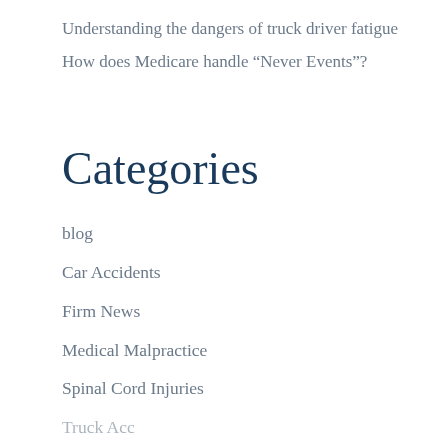Understanding the dangers of truck driver fatigue
How does Medicare handle “Never Events”?
Categories
blog
Car Accidents
Firm News
Medical Malpractice
Spinal Cord Injuries
Truck Accidents